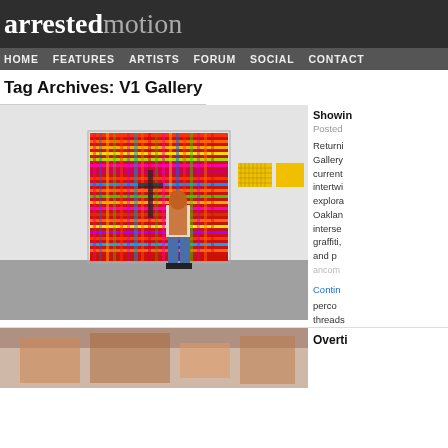arrestedmotion
HOME  FEATURES  ARTISTS  FORUM  SOCIAL  CONTACT
Tag Archives: V1 Gallery
[Figure (photo): Gallery interior showing a woman with long red hair viewing a large colorful grid/plaid pattern painting on the left, and two yellow paintings on the right wall]
Showin
Posted
Returning Gallery current intertwi explorat Oaklan intersec graffiti, and p ancomu
Contin
percec threads
[Figure (photo): Partial view of another gallery article image at bottom of page]
Overti